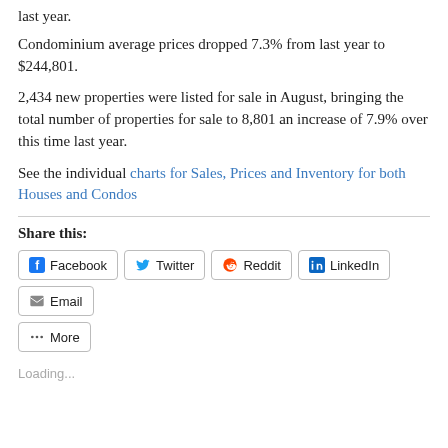last year.
Condominium average prices dropped 7.3% from last year to $244,801.
2,434 new properties were listed for sale in August, bringing the total number of properties for sale to 8,801 an increase of 7.9% over this time last year.
See the individual charts for Sales, Prices and Inventory for both Houses and Condos
Share this:
Facebook  Twitter  Reddit  LinkedIn  Email  More
Loading...